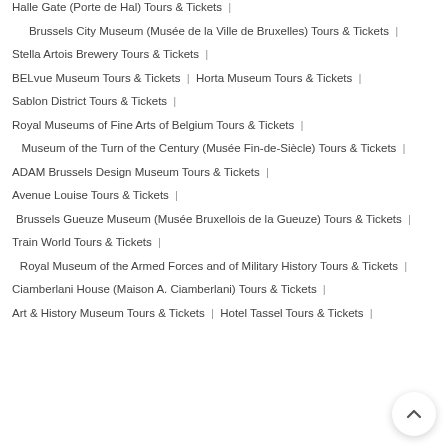Halle Gate (Porte de Hal) Tours & Tickets |
Brussels City Museum (Musée de la Ville de Bruxelles) Tours & Tickets |
Stella Artois Brewery Tours & Tickets |
BELvue Museum Tours & Tickets | Horta Museum Tours & Tickets |
Sablon District Tours & Tickets |
Royal Museums of Fine Arts of Belgium Tours & Tickets |
Museum of the Turn of the Century (Musée Fin-de-Siècle) Tours & Tickets |
ADAM Brussels Design Museum Tours & Tickets |
Avenue Louise Tours & Tickets |
Brussels Gueuze Museum (Musée Bruxellois de la Gueuze) Tours & Tickets |
Train World Tours & Tickets |
Royal Museum of the Armed Forces and of Military History Tours & Tickets |
Ciamberlani House (Maison A. Ciamberlani) Tours & Tickets |
Art & History Museum Tours & Tickets | Hotel Tassel Tours & Tickets |